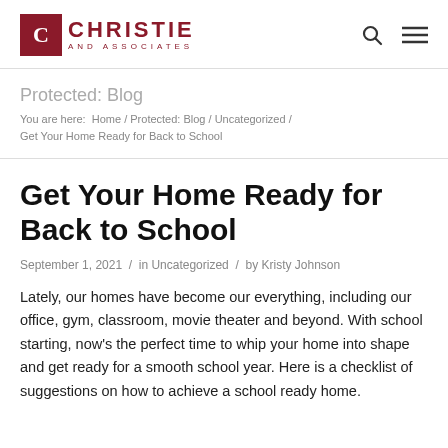[Figure (logo): Christie and Associates logo with red C icon and text]
Protected: Blog
You are here: Home / Protected: Blog / Uncategorized / Get Your Home Ready for Back to School
Get Your Home Ready for Back to School
September 1, 2021 / in Uncategorized / by Kristy Johnson
Lately, our homes have become our everything, including our office, gym, classroom, movie theater and beyond. With school starting, now's the perfect time to whip your home into shape and get ready for a smooth school year. Here is a checklist of suggestions on how to achieve a school ready home.